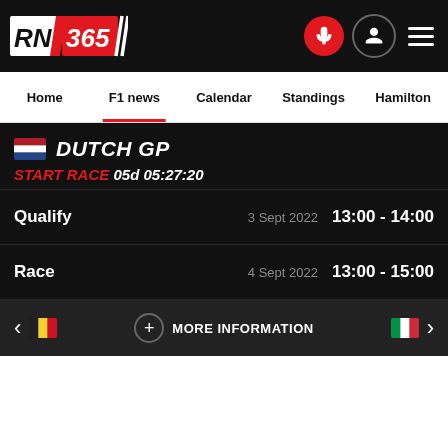RN365 navigation header with logo, microphone icon, account icon, and menu icon
Home | F1 news | Calendar | Standings | Hamilton
DUTCH GP
START RACE 05d 05:27:20
Qualify  3 Sept 2022  13:00 - 14:00
Race  4 Sept 2022  13:00 - 15:00
+ MORE INFORMATION